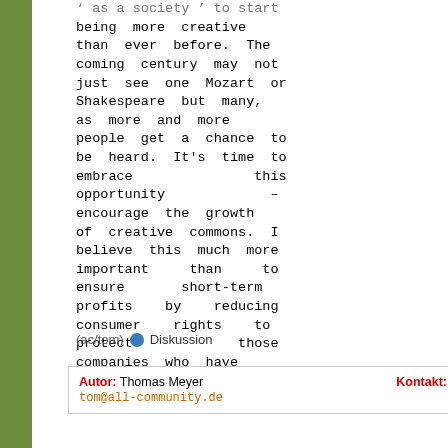as a society to start being more creative than ever before. The coming century may not just see one Mozart or Shakespeare but many, as more and more people get a chance to be heard. It's time to embrace this opportunity – encourage the growth of creative commons. I believe this much more important than to ensure short-term profits by reducing consumer rights to protect those companies who have failed to adapt to a changing market.
(ac/tom) • Diskussion
Autor: Thomas Meyer   Kontakt:
tom@all-community.de